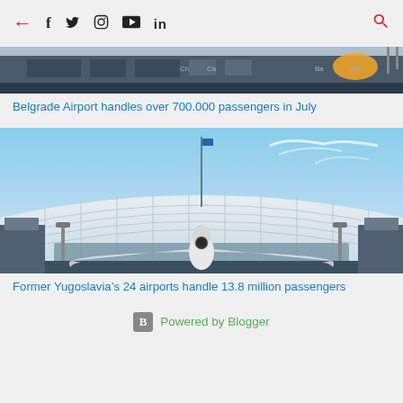← f 𝕏 📷 ▶ in 🔍
[Figure (photo): Belgrade Airport terminal building exterior with dark facade, daytime photo]
Belgrade Airport handles over 700.000 passengers in July
[Figure (photo): Airplane on tarmac in front of modern curved airport terminal building under blue sky]
Former Yugoslavia's 24 airports handle 13.8 million passengers
Powered by Blogger